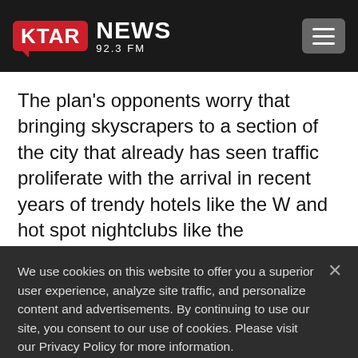KTAR NEWS 92.3 FM
The plan's opponents worry that bringing skyscrapers to a section of the city that already has seen traffic proliferate with the arrival in recent years of trendy hotels like the W and hot spot nightclubs like the
We use cookies on this website to offer you a superior user experience, analyze site traffic, and personalize content and advertisements. By continuing to use our site, you consent to our use of cookies. Please visit our Privacy Policy for more information.
Accept Cookies